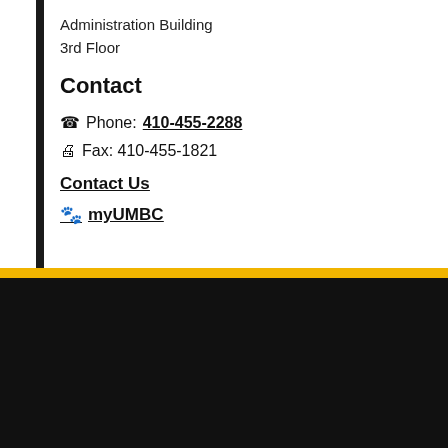Administration Building
3rd Floor
Contact
Phone: 410-455-2288
Fax: 410-455-1821
Contact Us
myUMBC
[Figure (logo): UMBC logo with shield and text on black background]
University of Maryland, Baltimore County
1000 Hilltop Circle, Baltimore, MD 21250